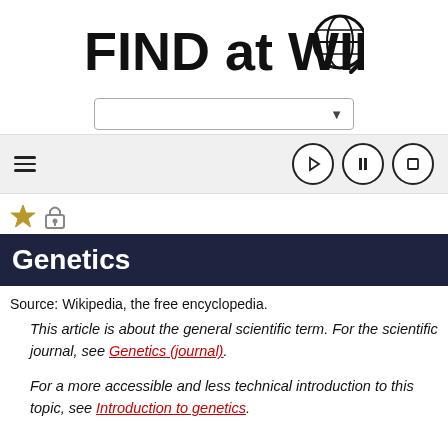[Figure (logo): FIND at WIKI logo with globe and magnifying glass icon]
[Figure (screenshot): Search dropdown bar with arrow]
[Figure (screenshot): Toolbar with hamburger menu on left and media control buttons (play, pause, stop) on right]
[Figure (screenshot): Star and lock icons]
Genetics
Source: Wikipedia, the free encyclopedia.
This article is about the general scientific term. For the scientific journal, see Genetics (journal).
For a more accessible and less technical introduction to this topic, see Introduction to genetics.